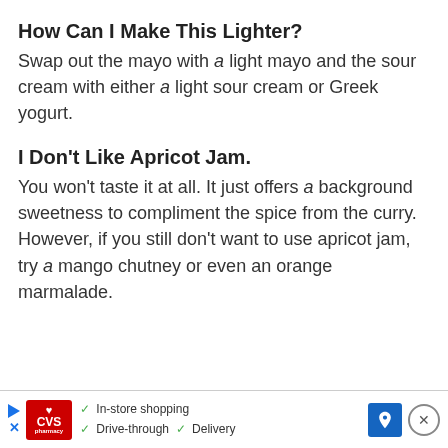How Can I Make This Lighter?
Swap out the mayo with a light mayo and the sour cream with either a light sour cream or Greek yogurt.
I Don't Like Apricot Jam.
You won't taste it at all. It just offers a background sweetness to compliment the spice from the curry. However, if you still don't want to use apricot jam, try a mango chutney or even an orange marmalade.
[Figure (other): CVS Pharmacy advertisement banner with in-store shopping, drive-through, and delivery options, navigation icon, and close button]